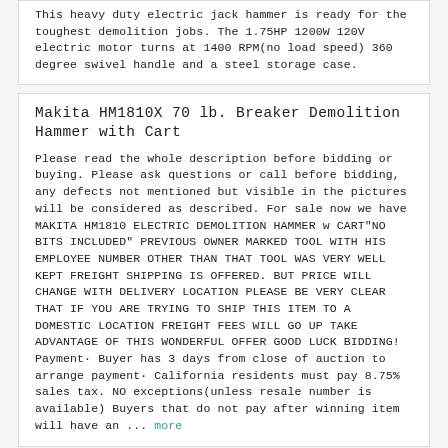This heavy duty electric jack hammer is ready for the toughest demolition jobs. The 1.75HP 1200W 120V electric motor turns at 1400 RPM(no load speed) 360 degree swivel handle and a steel storage case.
Makita HM1810X 70 lb. Breaker Demolition Hammer with Cart
Please read the whole description before bidding or buying. Please ask questions or call before bidding, any defects not mentioned but visible in the pictures will be considered as described. For sale now we have MAKITA HM1810 ELECTRIC DEMOLITION HAMMER w CART"NO BITS INCLUDED" PREVIOUS OWNER MARKED TOOL WITH HIS EMPLOYEE NUMBER OTHER THAN THAT TOOL WAS VERY WELL KEPT FREIGHT SHIPPING IS OFFERED. BUT PRICE WILL CHANGE WITH DELIVERY LOCATION PLEASE BE VERY CLEAR THAT IF YOU ARE TRYING TO SHIP THIS ITEM TO A DOMESTIC LOCATION FREIGHT FEES WILL GO UP TAKE ADVANTAGE OF THIS WONDERFUL OFFER GOOD LUCK BIDDING! Payment· Buyer has 3 days from close of auction to arrange payment· California residents must pay 8.75% sales tax. NO exceptions(unless resale number is available) Buyers that do not pay after winning item will have an ... more
Hilti TE 505 Demo Hammer Breaker *CLEAN*
YOU ARE BIDDING ON A USED HILTI TE505 DEMO BREAKER. ALTHOUGH USED, ITS STILL IN GREAT CONDITION AND WORKS